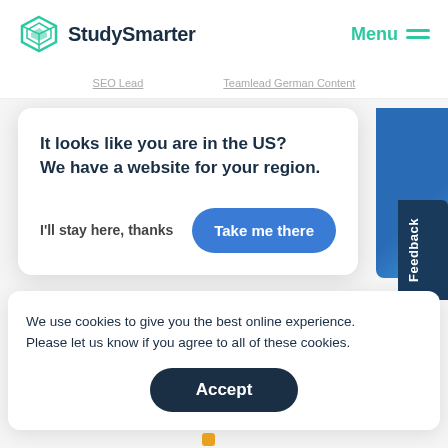StudySmarter | Menu
SEO Lead   Teamlead German Content
It looks like you are in the US?
We have a website for your region.

I'll stay here, thanks   Take me there
Feedback
We use cookies to give you the best online experience. Please let us know if you agree to all of these cookies.
Accept